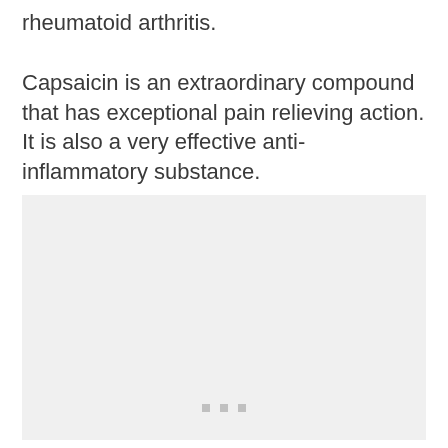rheumatoid arthritis.
Capsaicin is an extraordinary compound that has exceptional pain relieving action. It is also a very effective anti-inflammatory substance.
[Figure (photo): Light gray placeholder image box with three small gray dots near the bottom center, likely representing a loading or placeholder image.]